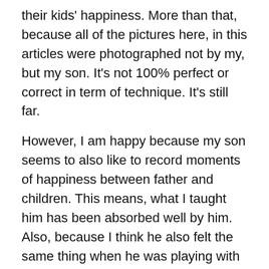their kids' happiness. More than that, because all of the pictures here, in this articles were photographed not by my, but my son. It's not 100% perfect or correct in term of technique. It's still far.
However, I am happy because my son seems to also like to record moments of happiness between father and children. This means, what I taught him has been absorbed well by him. Also, because I think he also felt the same thing when he was playing with me while he was a toddler.
Something that I expect later he can transfer to his family, when he has one.
The happiness inside family.
Perhaps, that's why streets attract me so much, because, besides struggles and sadness, it also